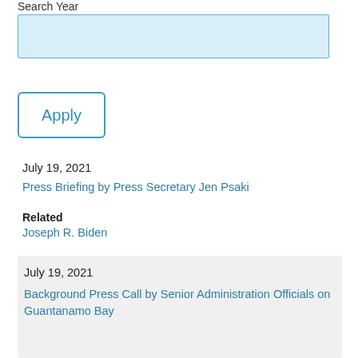Search Year
[Figure (other): Search text input field with light blue background and blue border]
Apply
July 19, 2021
Press Briefing by Press Secretary Jen Psaki
Related
Joseph R. Biden
July 19, 2021
Background Press Call by Senior Administration Officials on Guantanamo Bay